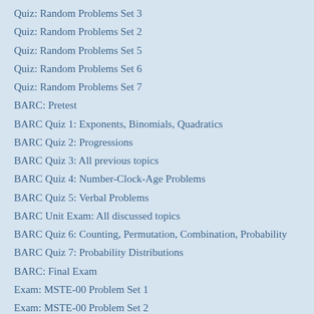Quiz: Random Problems Set 3
Quiz: Random Problems Set 2
Quiz: Random Problems Set 5
Quiz: Random Problems Set 6
Quiz: Random Problems Set 7
BARC: Pretest
BARC Quiz 1: Exponents, Binomials, Quadratics
BARC Quiz 2: Progressions
BARC Quiz 3: All previous topics
BARC Quiz 4: Number-Clock-Age Problems
BARC Quiz 5: Verbal Problems
BARC Unit Exam: All discussed topics
BARC Quiz 6: Counting, Permutation, Combination, Probability
BARC Quiz 7: Probability Distributions
BARC: Final Exam
Exam: MSTE-00 Problem Set 1
Exam: MSTE-00 Problem Set 2
Exam: MSTE-00 Problem Set 3
Exam: MSTE-00 Problem Set 4
Exam: MSTE-00 Problem Set 5